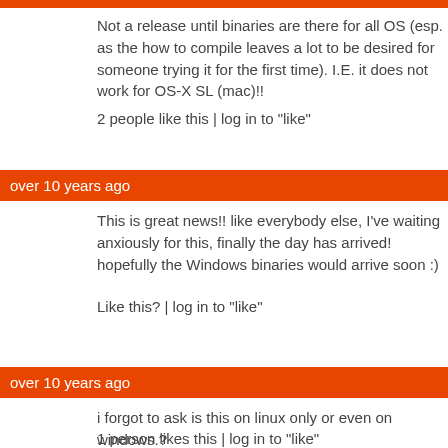Not a release until binaries are there for all OS (esp. as the how to compile leaves a lot to be desired for someone trying it for the first time). I.E. it does not work for OS-X SL (mac)!!
2 people like this | log in to "like"
over 10 years ago
This is great news!! like everybody else, I've waiting anxiously for this, finally the day has arrived! hopefully the Windows binaries would arrive soon :)
Like this? | log in to "like"
over 10 years ago
i forgot to ask is this on linux only or even on windows.?
1 person likes this | log in to "like"